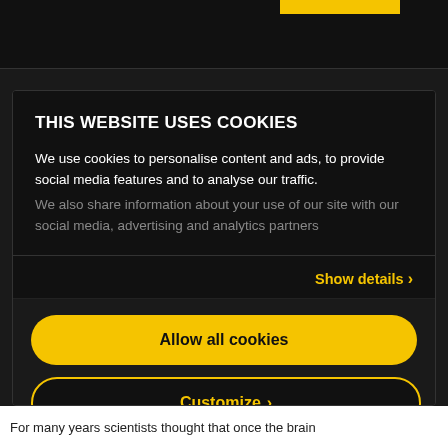THIS WEBSITE USES COOKIES
We use cookies to personalise content and ads, to provide social media features and to analyse our traffic. We also share information about your use of our site with our social media, advertising and analytics partners
Show details ›
Allow all cookies
Customize ›
Powered by Cookiebot by Usercentrics
For many years scientists thought that once the brain